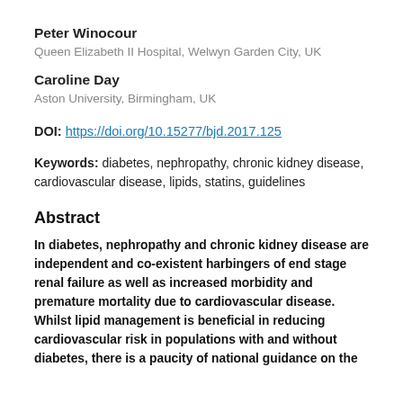Peter Winocour
Queen Elizabeth II Hospital, Welwyn Garden City, UK
Caroline Day
Aston University, Birmingham, UK
DOI: https://doi.org/10.15277/bjd.2017.125
Keywords: diabetes, nephropathy, chronic kidney disease, cardiovascular disease, lipids, statins, guidelines
Abstract
In diabetes, nephropathy and chronic kidney disease are independent and co-existent harbingers of end stage renal failure as well as increased morbidity and premature mortality due to cardiovascular disease. Whilst lipid management is beneficial in reducing cardiovascular risk in populations with and without diabetes, there is a paucity of national guidance on the